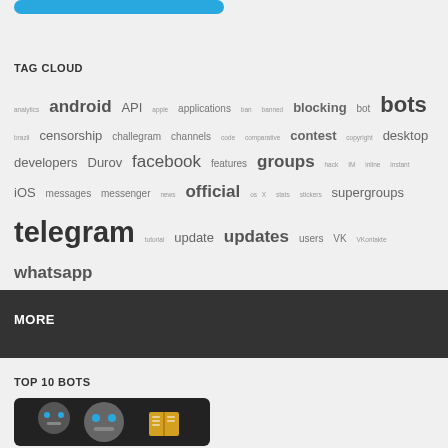[Figure (other): Blue button/banner at top of page]
TAG CLOUD
analytics android API apple applications ban banned blocking bot bots brazil censorship challegram channels code comparative contest copyright desktop developers Durov facebook features groups hack IM inline instant iOS messages messenger news official os X stats stickers supergroups telegram tutorial update updates users VK VKontakte whatsapp
MORE
TOP 10 BOTS
[Figure (illustration): Dark image box with robot/bot icons at bottom of page]